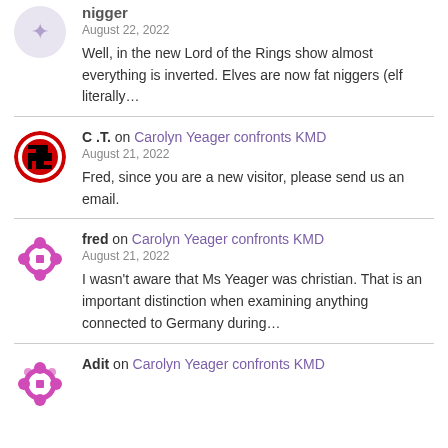nigger
August 22, 2022
Well, in the new Lord of the Rings show almost everything is inverted. Elves are now fat niggers (elf literally…
C .T. on Carolyn Yeager confronts KMD
August 21, 2022
Fred, since you are a new visitor, please send us an email.
fred on Carolyn Yeager confronts KMD
August 21, 2022
I wasn't aware that Ms Yeager was christian. That is an important distinction when examining anything connected to Germany during…
Adit on Carolyn Yeager confronts KMD